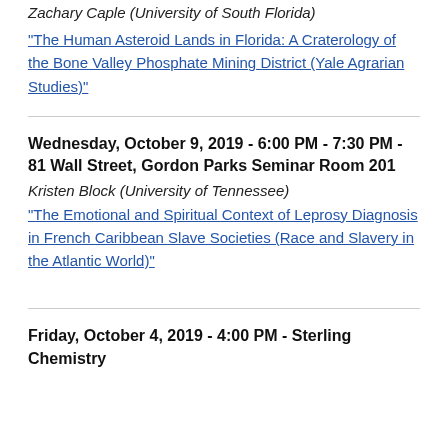Zachary Caple (University of South Florida)
“The Human Asteroid Lands in Florida: A Craterology of the Bone Valley Phosphate Mining District (Yale Agrarian Studies)”
Wednesday, October 9, 2019 - 6:00 PM - 7:30 PM - 81 Wall Street, Gordon Parks Seminar Room 201
Kristen Block (University of Tennessee)
“The Emotional and Spiritual Context of Leprosy Diagnosis in French Caribbean Slave Societies (Race and Slavery in the Atlantic World)”
Friday, October 4, 2019 - 4:00 PM - Sterling Chemistry